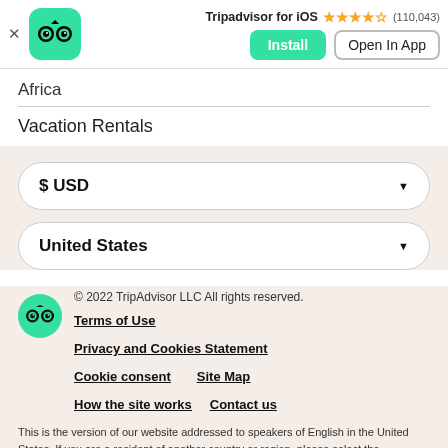Tripadvisor for iOS ★★★★½ (110,043) Install  Open In App
Africa
Vacation Rentals
$USD
United States
© 2022 TripAdvisor LLC All rights reserved.
Terms of Use  Privacy and Cookies Statement  Cookie consent  Site Map  How the site works  Contact us
This is the version of our website addressed to speakers of English in the United States. If you are a resident of another country or region, please select the appropriate version of Tripadvisor for your country or region in the drop-down menu. more